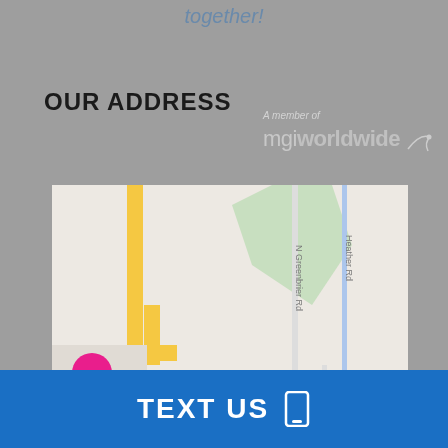together!
OUR ADDRESS
[Figure (map): Google Maps view showing Long Beach Airport Business Park area, with streets including N Greenbrier Rd, Heather Rd, Fidler Ave, Airport Plaza Dr, E 28th St, E Patterson St. Shows Marriott hotel and Long Beach Airport Business Park pin.]
A member of mgi worldwide
TEXT US